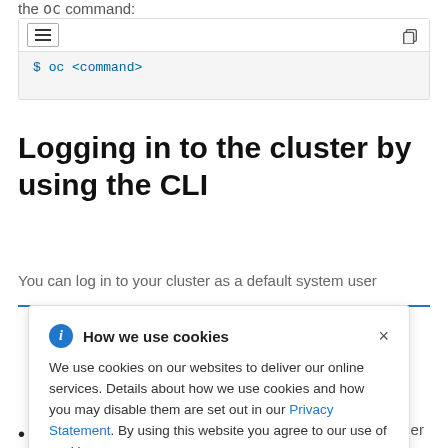the oc command:
[Figure (screenshot): Code block showing: $ oc <command>]
Logging in to the cluster by using the CLI
You can log in to your cluster as a default system user
[Figure (other): Cookie consent popup: 'How we use cookies' - We use cookies on our websites to deliver our online services. Details about how we use cookies and how you may disable them are set out in our Privacy Statement. By using this website you agree to our use of cookies.]
The out the a client to is specific ift Container
You deployed an OpenShift Container Platform